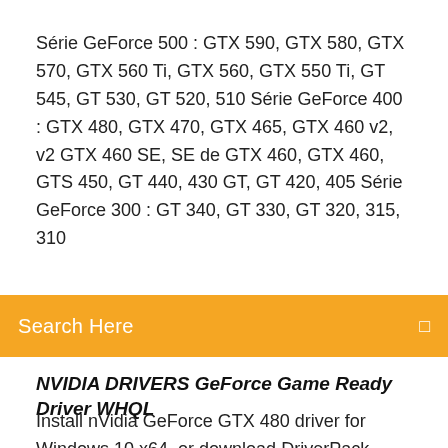Série GeForce 500 : GTX 590, GTX 580, GTX 570, GTX 560 Ti, GTX 560, GTX 550 Ti, GT 545, GT 530, GT 520, 510 Série GeForce 400 : GTX 480, GTX 470, GTX 465, GTX 460 v2, v2 GTX 460 SE, SE de GTX 460, GTX 460, GTS 450, GT 440, 430 GT, GT 420, 405 Série GeForce 300 : GT 340, GT 330, GT 320, 315, 310
Search Here
NVIDIA DRIVERS GeForce Game Ready Driver WHQL
Install nVidia GeForce GTX 480 driver for Windows 10 x64, or download DriverPack Solution software for automatic driver installation and update. Pilotes pour NVidia GeForce GTX 480 pour Windows 7 Description: Driver for NVidia GeForce GTX 480 Game Ready Drivers provide the best possible gaming experience for all major new releases, including Virtual Reality games. Prior to a new title launching, our driver team is working up until the last minute to ensure every performance tweak and bug fix is included for the best gameplay on day 1. NVIDIA